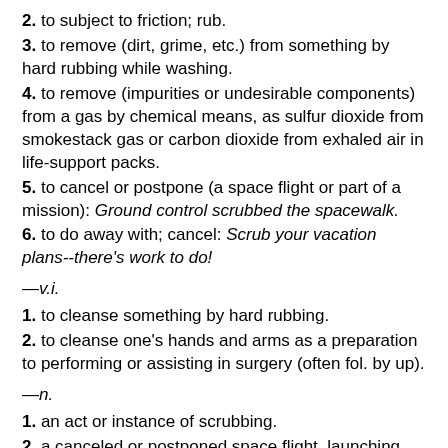2. to subject to friction; rub.
3. to remove (dirt, grime, etc.) from something by hard rubbing while washing.
4. to remove (impurities or undesirable components) from a gas by chemical means, as sulfur dioxide from smokestack gas or carbon dioxide from exhaled air in life-support packs.
5. to cancel or postpone (a space flight or part of a mission): Ground control scrubbed the spacewalk.
6. to do away with; cancel: Scrub your vacation plans--there's work to do!
—v.i.
1. to cleanse something by hard rubbing.
2. to cleanse one's hands and arms as a preparation to performing or assisting in surgery (often fol. by up).
—n.
1. an act or instance of scrubbing.
2. a canceled or postponed space flight, launching,